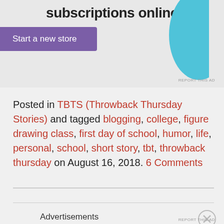[Figure (other): Advertisement banner with text 'subscriptions online', purple 'Start a new store' button, and cyan decorative shape on the right]
Posted in TBTS (Throwback Thursday Stories) and tagged blogging, college, figure drawing class, first day of school, humor, life, personal, school, short story, tbt, throwback thursday on August 16, 2018. 6 Comments
Advertisements